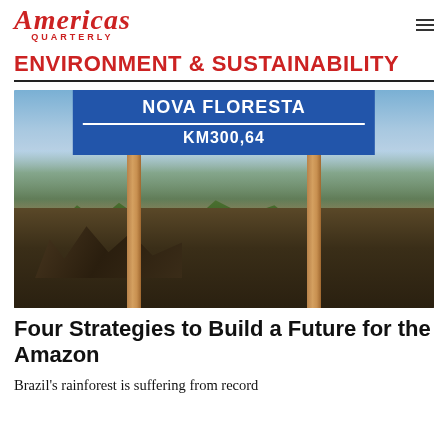Americas Quarterly
ENVIRONMENT & SUSTAINABILITY
[Figure (photo): A blue road sign reading 'NOVA FLORESTA KM300,64' mounted on wooden posts, with a deforested area of the Amazon rainforest in the background showing burned and felled trees under a cloudy sky.]
Four Strategies to Build a Future for the Amazon
Brazil's rainforest is suffering from record